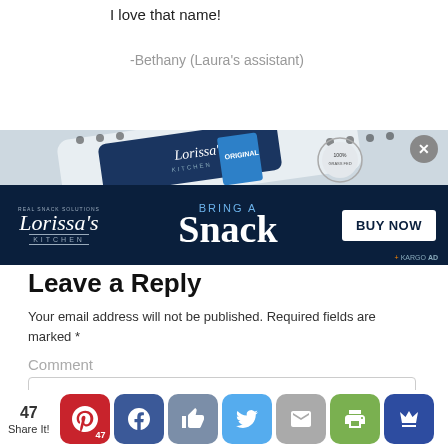I love that name!
-Bethany (Laura's assistant)
[Figure (photo): Lorissa's Kitchen product package and banner advertisement reading 'BRING A Snack — BUY NOW']
Leave a Reply
Your email address will not be published. Required fields are marked *
Comment
[Figure (screenshot): Social share bar with count 47, Pinterest (47), Facebook, Like, Twitter, Email, Print, Crown buttons]